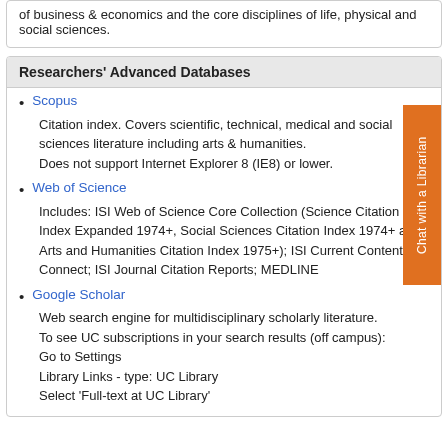of business & economics and the core disciplines of life, physical and social sciences.
Researchers' Advanced Databases
Scopus
Citation index. Covers scientific, technical, medical and social sciences literature including arts & humanities.
Does not support Internet Explorer 8 (IE8) or lower.
Web of Science
Includes: ISI Web of Science Core Collection (Science Citation Index Expanded 1974+, Social Sciences Citation Index 1974+ and Arts and Humanities Citation Index 1975+); ISI Current Contents Connect; ISI Journal Citation Reports; MEDLINE
Google Scholar
Web search engine for multidisciplinary scholarly literature.
To see UC subscriptions in your search results (off campus):
Go to Settings
Library Links - type: UC Library
Select 'Full-text at UC Library'